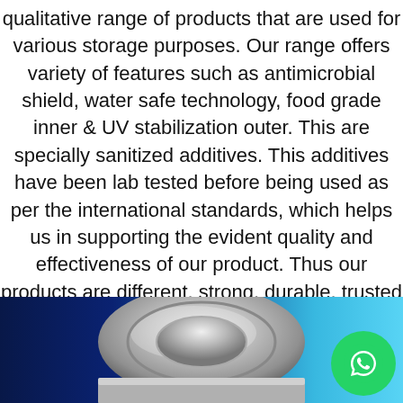qualitative range of products that are used for various storage purposes. Our range offers variety of features such as antimicrobial shield, water safe technology, food grade inner & UV stabilization outer. This are specially sanitized additives. This additives have been lab tested before being used as per the international standards, which helps us in supporting the evident quality and effectiveness of our product. Thus our products are different, strong, durable, trusted & safe in storing drinking water.
[Figure (photo): Bottom portion of page showing a water storage tank lid/cap in silver/gray color against a blue gradient background, with a WhatsApp chat button in green in the bottom right corner.]